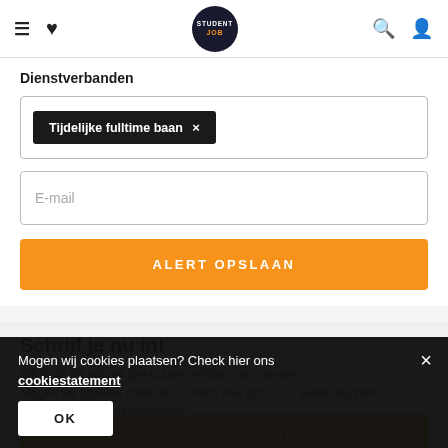StudentJob navigation header with hamburger menu, heart icon, StudentJob logo, search icon, and user icon
Dienstverbanden
Tijdelijke fulltime baan ×
E-mail
ALERT OPSLAAN
Schrijf je nu in!
Wil jij op de hoogte gehouden worden van nieuwe... duisklik kunnen... schrijf je in als werkzoekende!
Mogen wij cookies plaatsen? Check hier ons cookiestatement
OK
DIRECT INSCHRIJVEN